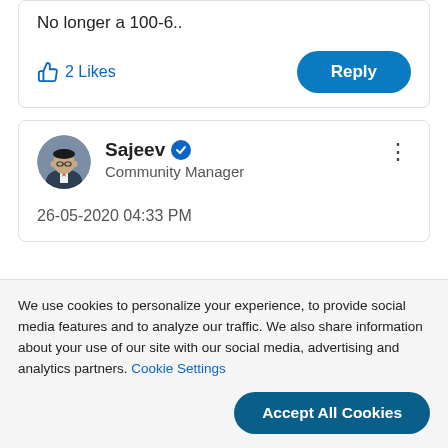No longer a 100-6..
2 Likes
Reply
[Figure (photo): Profile photo of Sajeev, a man in a suit]
Sajeev
Community Manager
26-05-2020 04:33 PM
We use cookies to personalize your experience, to provide social media features and to analyze our traffic. We also share information about your use of our site with our social media, advertising and analytics partners. Cookie Settings
Accept All Cookies